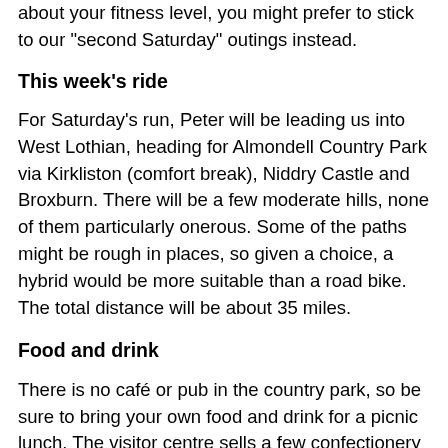about your fitness level, you might prefer to stick to our "second Saturday" outings instead.
This week's ride
For Saturday's run, Peter will be leading us into West Lothian, heading for Almondell Country Park via Kirkliston (comfort break), Niddry Castle and Broxburn. There will be a few moderate hills, none of them particularly onerous. Some of the paths might be rough in places, so given a choice, a hybrid would be more suitable than a road bike. The total distance will be about 35 miles.
Food and drink
There is no café or pub in the country park, so be sure to bring your own food and drink for a picnic lunch. The visitor centre sells a few confectionery items and they also have a vending machine for hot drinks. But the range is very limited, so it would be wise not to rely on it.
If the weather is bad, we will eat our picnic inside the visitor